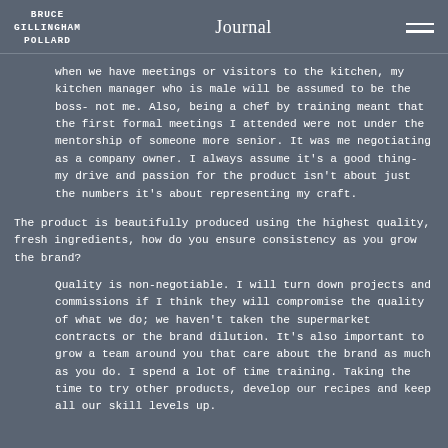BRUCE GILLINGHAM POLLARD | Journal
when we have meetings or visitors to the kitchen, my kitchen manager who is male will be assumed to be the boss- not me. Also, being a chef by training meant that the first formal meetings I attended were not under the mentorship of someone more senior. It was me negotiating as a company owner. I always assume it's a good thing- my drive and passion for the product isn't about just the numbers it's about representing my craft.
The product is beautifully produced using the highest quality, fresh ingredients, how do you ensure consistency as you grow the brand?
Quality is non-negotiable. I will turn down projects and commissions if I think they will compromise the quality of what we do; we haven't taken the supermarket contracts or the brand dilution. It's also important to grow a team around you that care about the brand as much as you do. I spend a lot of time training. Taking the time to try other products, develop our recipes and keep all our skill levels up.